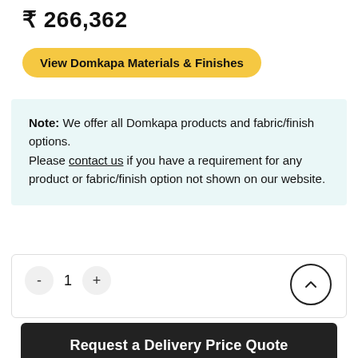₹ 266,362
View Domkapa Materials & Finishes
Note: We offer all Domkapa products and fabric/finish options.
Please contact us if you have a requirement for any product or fabric/finish option not shown on our website.
- 1 +
Request a Delivery Price Quote